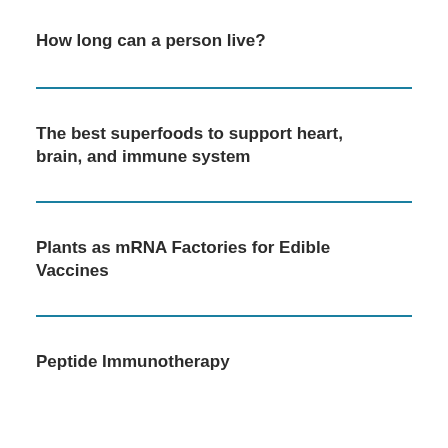How long can a person live?
The best superfoods to support heart, brain, and immune system
Plants as mRNA Factories for Edible Vaccines
Peptide Immunotherapy